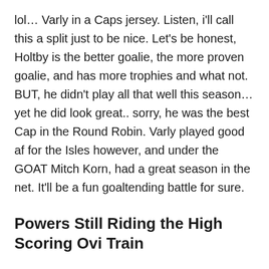lol… Varly in a Caps jersey. Listen, i'll call this a split just to be nice. Let's be honest, Holtby is the better goalie, the more proven goalie, and has more trophies and what not. BUT, he didn't play all that well this season… yet he did look great.. sorry, he was the best Cap in the Round Robin. Varly played good af for the Isles however, and under the GOAT Mitch Korn, had a great season in the net. It'll be a fun goaltending battle for sure.
Powers Still Riding the High Scoring Ovi Train